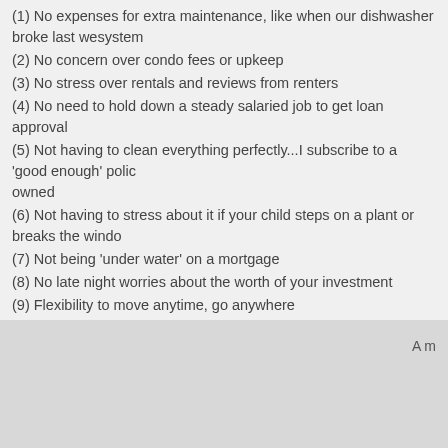(1) No expenses for extra maintenance, like when our dishwasher broke last we... system
(2) No concern over condo fees or upkeep
(3) No stress over rentals and reviews from renters
(4) No need to hold down a steady salaried job to get loan approval
(5) Not having to clean everything perfectly...I subscribe to a 'good enough' polic... owned
(6) Not having to stress about it if your child steps on a plant or breaks the windo...
(7) Not being 'under water' on a mortgage
(8) No late night worries about the worth of your investment
(9) Flexibility to move anytime, go anywhere
(10) Freedom
Comments (1) Posted by globalmomma 12:28 Archived in USA Tagged home rental mortg...
(Entries 1 - 5 of 5) Page [1]
A m...